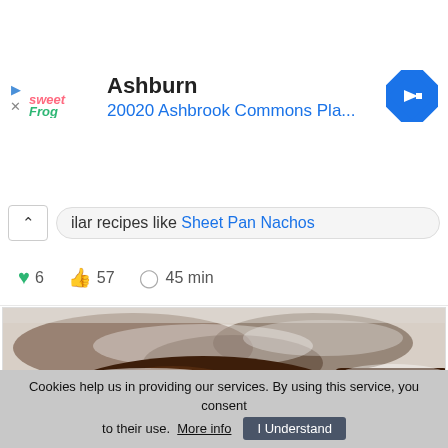[Figure (screenshot): Ad banner for sweetFrog showing Ashburn location at 20020 Ashbrook Commons Pla... with navigation arrow icon]
ilar recipes like Sheet Pan Nachos
6  57  45 min
[Figure (photo): Close-up photo of chocolate brownies dusted with powdered sugar, with a green mint leaf garnish, on a light background]
Cookies help us in providing our services. By using this service, you consent to their use. More info  I Understand